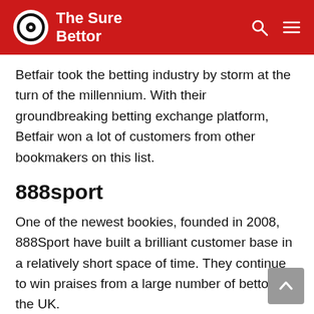The Sure Bettor
Betfair took the betting industry by storm at the turn of the millennium. With their groundbreaking betting exchange platform, Betfair won a lot of customers from other bookmakers on this list.
888sport
One of the newest bookies, founded in 2008, 888Sport have built a brilliant customer base in a relatively short space of time. They continue to win praises from a large number of bettors in the UK.
Betway
Betway is another company that make our list of